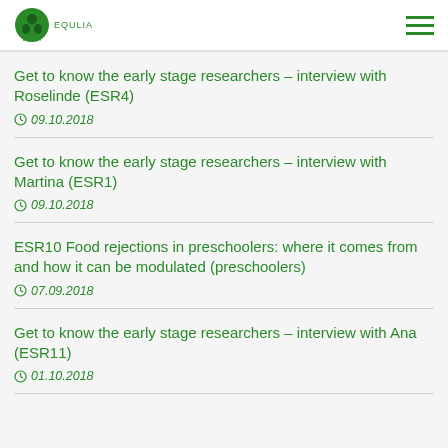EQULIA
Get to know the early stage researchers – interview with Roselinde (ESR4)
09.10.2018
Get to know the early stage researchers – interview with Martina (ESR1)
09.10.2018
ESR10 Food rejections in preschoolers: where it comes from and how it can be modulated (preschoolers)
07.09.2018
Get to know the early stage researchers – interview with Ana (ESR11)
01.10.2018